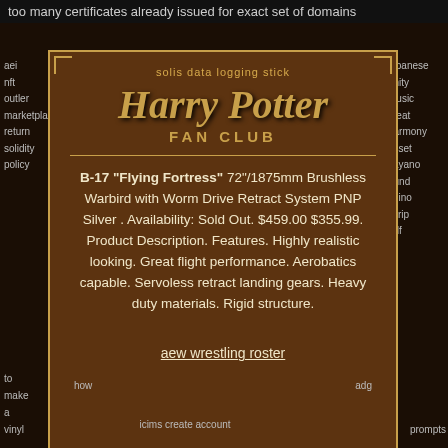too many certificates already issued for exact set of domains
aei
nft
outler
marketplace
return
solidity
policy
japanese
unity
music
creat
harmony
asset
kayano
bund
chino
script
pdf
solis data logging stick
Harry Potter
FAN CLUB
B-17 "Flying Fortress" 72"/1875mm Brushless Warbird with Worm Drive Retract System PNP Silver . Availability: Sold Out. $459.00 $355.99. Product Description. Features. Highly realistic looking. Great flight performance. Aerobatics capable. Servoless retract landing gears. Heavy duty materials. Rigid structure.
aew wrestling roster
how
to
make
a
vinyl
icims create account
adg
prompts